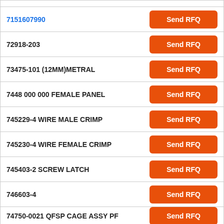7151607990
72918-203
73475-101 (12MM)METRAL
7448 000 000 FEMALE PANEL
745229-4 WIRE MALE CRIMP
745230-4 WIRE FEMALE CRIMP
745403-2 SCREW LATCH
746603-4
74750-0021 QFSP CAGE ASSY PF